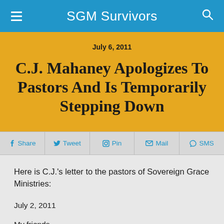SGM Survivors
July 6, 2011
C.J. Mahaney Apologizes To Pastors And Is Temporarily Stepping Down
Share | Tweet | Pin | Mail | SMS
Here is C.J.'s letter to the pastors of Sovereign Grace Ministries:
July 2, 2011
My friends,